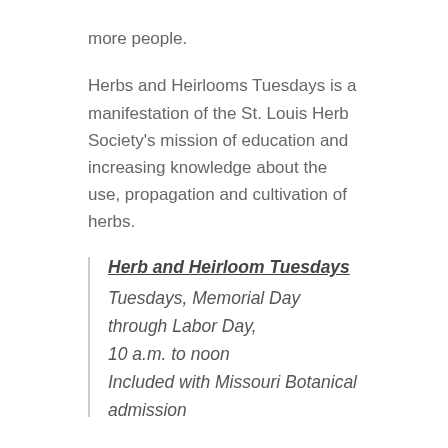more people.
Herbs and Heirlooms Tuesdays is a manifestation of the St. Louis Herb Society's mission of education and increasing knowledge about the use, propagation and cultivation of herbs.
Herb and Heirloom Tuesdays
Tuesdays, Memorial Day through Labor Day, 10 a.m. to noon
Included with Missouri Botanical admission
Morgan Niezing
Digital Media Intern